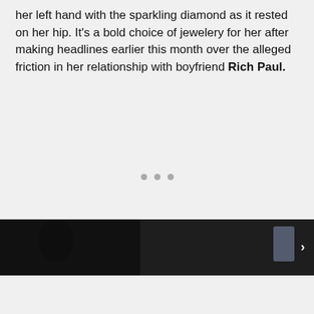her left hand with the sparkling diamond as it rested on her hip. It's a bold choice of jewelery for her after making headlines earlier this month over the alleged friction in her relationship with boyfriend Rich Paul.
[Figure (other): Three grey dots indicating a loading or pagination indicator]
[Figure (photo): Dark photograph showing a person in dark clothing with a light-colored item visible on the right side, with a right-arrow navigation chevron]